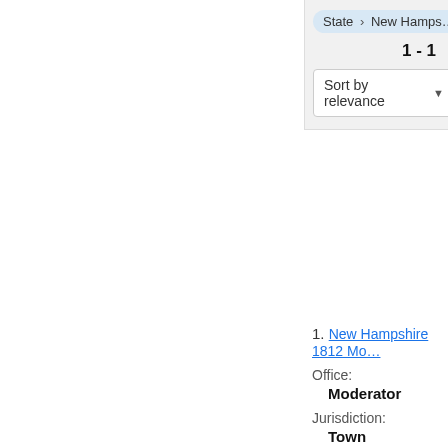State › New Hampshire
1 - 1
Sort by relevance ▼
1. New Hampshire 1812 Mo...
Office:
Moderator
Jurisdiction:
Town
Year:
1812-03
State:
New Hampshire
2. New Hampshire 1813 Mo...
Office:
Moderator